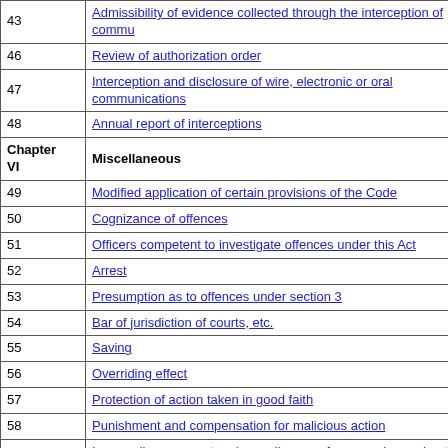| Section | Title |
| --- | --- |
| 43 | Admissibility of evidence collected through the interception of commu... |
| 46 | Review of authorization order |
| 47 | Interception and disclosure of wire, electronic or oral communications |
| 48 | Annual report of interceptions |
| Chapter VI | Miscellaneous |
| 49 | Modified application of certain provisions of the Code |
| 50 | Cognizance of offences |
| 51 | Officers competent to investigate offences under this Act |
| 52 | Arrest |
| 53 | Presumption as to offences under section 3 |
| 54 | Bar of jurisdiction of courts, etc. |
| 55 | Saving |
| 56 | Overriding effect |
| 57 | Protection of action taken in good faith |
| 58 | Punishment and compensation for malicious action |
| 59 | Impounding passport and arms licence of person chargesheeted und... |
| 60 | Review committees |
| 61 | Power of High Courts to make rules |
| 62 | Power to make rules |
| 63 | Orders and rules to be laid before Houses of Parliament |